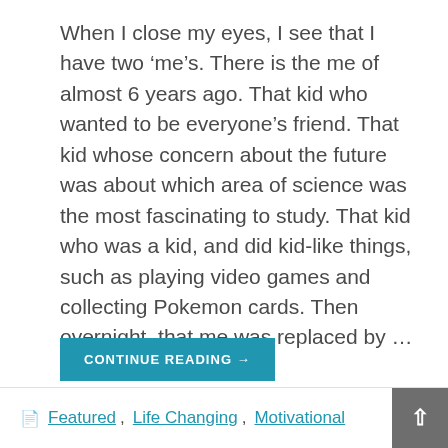When I close my eyes, I see that I have two ‘me’s. There is the me of almost 6 years ago. That kid who wanted to be everyone’s friend. That kid whose concern about the future was about which area of science was the most fascinating to study. That kid who was a kid, and did kid-like things, such as playing video games and collecting Pokemon cards. Then overnight, that me was replaced by …
CONTINUE READING →
Featured, Life Changing, Motivational